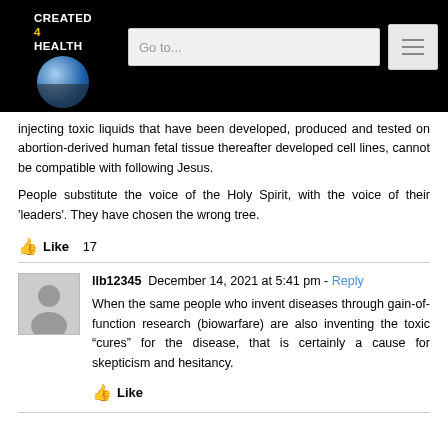CREATED 4 HEALTH — Go to...
injecting toxic liquids that have been developed, produced and tested on abortion-derived human fetal tissue thereafter developed cell lines, cannot be compatible with following Jesus.

People substitute the voice of the Holy Spirit, with the voice of their 'leaders'. They have chosen the wrong tree.
Like 17
llb12345  December 14, 2021 at 5:41 pm - Reply

When the same people who invent diseases through gain-of-function research (biowarfare) are also inventing the toxic "cures" for the disease, that is certainly a cause for skepticism and hesitancy.
Like